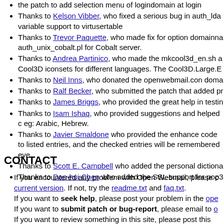Thanks to [name], who contributed the login patch to add selection menu of logindomain at login
Thanks to Kelson Vibber, who fixed a serious bug in auth_lda variable support to virtusertable
Thanks to Trevor Paquette, who made fix for option domainname auth_unix_cobalt.pl for Cobalt server.
Thanks to Andrea Partinico, who made the mkcool3d_en.sh and Cool3D iconsets for different languages. The Cool3D.Large.E
Thanks to Neil Inns, who donated the openwebmail.con domain
Thanks to Ralf Becker, who submitted the patch that added pr
Thanks to James Briggs, who provided the great help in testing
Thanks to Isam Ishaq, who provided suggestions and helped c eg: Arabic, Hebrew.
Thanks to Javier Smaldone who provided the enhance code to listed entries, and the checked entries will be remembered eve
Thanks to Scott E. Campbell who added the personal dictiona
Thanks to Dao-hui Chen who added the SSL support for pop3
CONTACT
If you encountered any problem with Open Webmail, please c current version. If not, try the readme.txt and faq.txt. If you want to seek help, please post your problem in the ope If you want to submit patch or bug-report, please email to o If you want to …